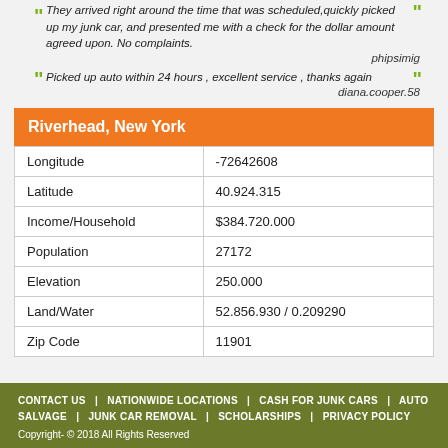They arrived right around the time that was scheduled,quickly picked up my junk car, and presented me with a check for the dollar amount agreed upon. No complaints.
— phipsimig
Picked up auto within 24 hours , excellent service , thanks again
— diana.cooper.58
|  |  |
| --- | --- |
| Longitude | -72642608 |
| Latitude | 40.924.315 |
| Income/Household | $384.720.000 |
| Population | 27172 |
| Elevation | 250.000 |
| Land/Water | 52.856.930 / 0.209290 |
| Zip Code | 11901 |
CONTACT US | NATIONWIDE LOCATIONS | CASH FOR JUNK CARS | AUTO SALVAGE | JUNK CAR REMOVAL | SCHOLARSHIPS | PRIVACY POLICY
Copyright- © 2018 All Rights Reserved